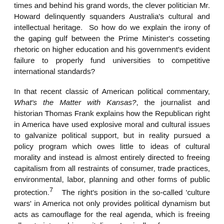times and behind his grand words, the clever politician Mr. Howard delinquently squanders Australia's cultural and intellectual heritage.  So how do we explain the irony of the gaping gulf between the Prime Minister's cosseting rhetoric on higher education and his government's evident failure to properly fund universities to competitive international standards?
In that recent classic of American political commentary, What's the Matter with Kansas?, the journalist and historian Thomas Frank explains how the Republican right in America have used explosive moral and cultural issues to galvanize political support, but in reality pursued a policy program which owes little to ideas of cultural morality and instead is almost entirely directed to freeing capitalism from all restraints of consumer, trade practices, environmental, labor, planning and other forms of public protection.7   The right's position in the so-called 'culture wars' in America not only provides political dynamism but acts as camouflage for the real agenda, which is freeing all restraints on big capitalism.  Ironically, of course